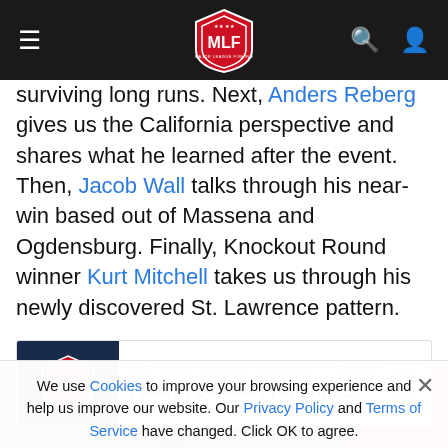MLF (Major League Fishing) navigation bar with hamburger menu, MLF shield logo, search and user icons
surviving long runs. Next, Anders Reberg gives us the California perspective and shares what he learned after the event. Then, Jacob Wall talks through his near-win based out of Massena and Ogdensburg. Finally, Knockout Round winner Kurt Mitchell takes us through his newly discovered St. Lawrence pattern.
[Figure (screenshot): MLF Bass Fishing Podcast card: EP430 - Pattern Details From the ...]
We use Cookies to improve your browsing experience and help us improve our website. Our Privacy Policy and Terms of Service have changed. Click OK to agree.
[Figure (infographic): PowerStop advertisement: BRAKES MADE FOR TOWING, Xtreme]